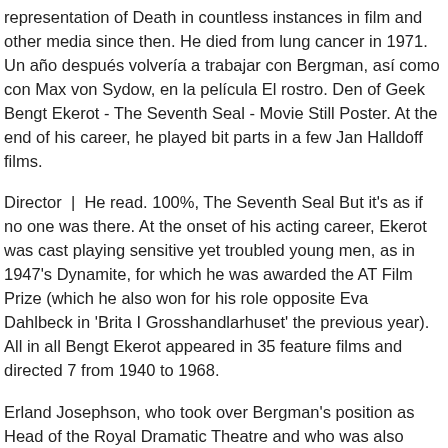representation of Death in countless instances in film and other media since then. He died from lung cancer in 1971. Un año después volvería a trabajar con Bergman, así como con Max von Sydow, en la película El rostro. Den of Geek Bengt Ekerot - The Seventh Seal - Movie Still Poster. At the end of his career, he played bit parts in a few Jan Halldoff films.
Director | He read. 100%, The Seventh Seal But it's as if no one was there. At the onset of his acting career, Ekerot was cast playing sensitive yet troubled young men, as in 1947's Dynamite, for which he was awarded the AT Film Prize (which he also won for his role opposite Eva Dahlbeck in 'Brita I Grosshandlarhuset' the previous year). All in all Bengt Ekerot appeared in 35 feature films and directed 7 from 1940 to 1968.
Erland Josephson, who took over Bergman's position as Head of the Royal Dramatic Theatre and who was also forced to turn down Ekerot for roles, described him in his book 'Rollen'.